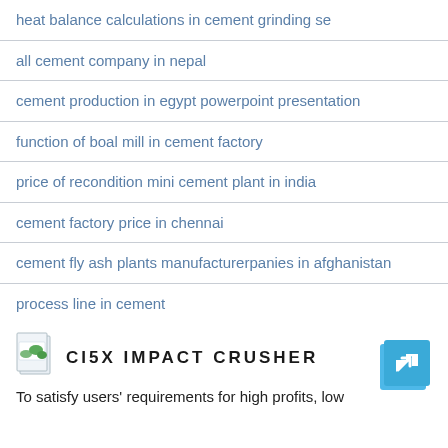heat balance calculations in cement grinding se
all cement company in nepal
cement production in egypt powerpoint presentation
function of boal mill in cement factory
price of recondition mini cement plant in india
cement factory price in chennai
cement fly ash plants manufacturerpanies in afghanistan
process line in cement
[Figure (logo): Document/file icon with green leaf image]
CI5X IMPACT CRUSHER
[Figure (other): Blue arrow icon pointing upper right]
To satisfy users' requirements for high profits, low